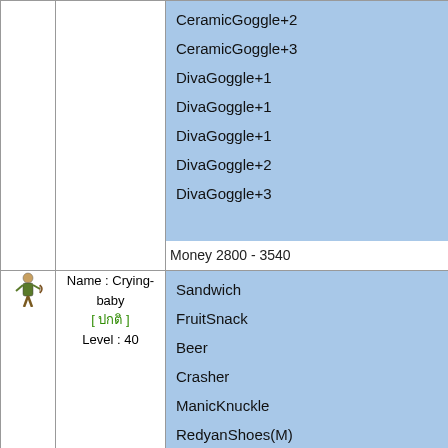CeramicGoggle+2
CeramicGoggle+3
DivaGoggle+1
DivaGoggle+1
DivaGoggle+1
DivaGoggle+2
DivaGoggle+3
Money 2800 - 3540
[Figure (illustration): Game character icon for Crying-baby]
Name : Crying-baby
[ ปกติ ]
Level : 40
Sandwich
FruitSnack
Beer
Crasher
ManicKnuckle
RedyanShoes(M)
RedyanShoes(W)
RedyanGoggle(M)